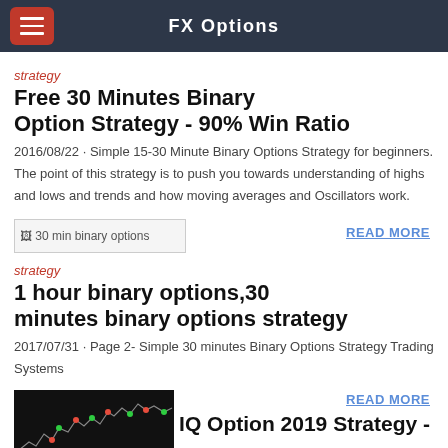FX Options
strategy
Free 30 Minutes Binary Option Strategy - 90% Win Ratio
2016/08/22 · Simple 15-30 Minute Binary Options Strategy for beginners. The point of this strategy is to push you towards understanding of highs and lows and trends and how moving averages and Oscillators work.
[Figure (illustration): Broken image placeholder with alt text '30 min binary options']
READ MORE
strategy
1 hour binary options,30 minutes binary options strategy
2017/07/31 · Page 2- Simple 30 minutes Binary Options Strategy Trading Systems
[Figure (screenshot): Financial chart thumbnail showing candlestick/line chart with red and green markers on dark background]
READ MORE
IQ Option 2019 Strategy -